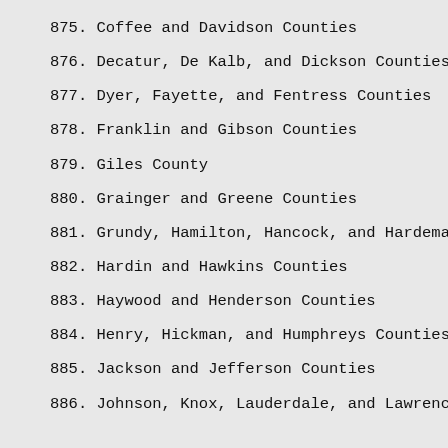875. Coffee and Davidson Counties
876. Decatur, De Kalb, and Dickson Counties
877. Dyer, Fayette, and Fentress Counties
878. Franklin and Gibson Counties
879. Giles County
880. Grainger and Greene Counties
881. Grundy, Hamilton, Hancock, and Hardeman Counties
882. Hardin and Hawkins Counties
883. Haywood and Henderson Counties
884. Henry, Hickman, and Humphreys Counties
885. Jackson and Jefferson Counties
886. Johnson, Knox, Lauderdale, and Lawrence Counties